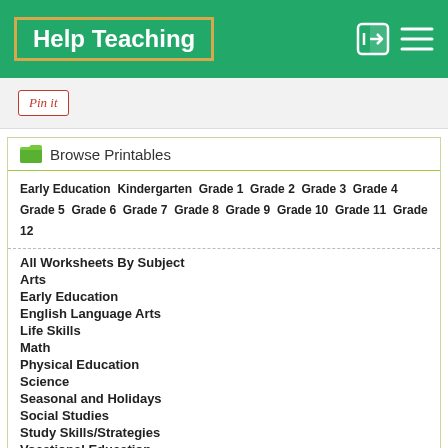Help Teaching
[Figure (logo): Help Teaching logo with green background and gold border]
[Figure (other): Pinterest Pin it button]
Browse Printables
Early Education Kindergarten Grade 1 Grade 2 Grade 3 Grade 4 Grade 5 Grade 6 Grade 7 Grade 8 Grade 9 Grade 10 Grade 11 Grade 12
All Worksheets By Subject
Arts
Early Education
English Language Arts
Life Skills
Math
Physical Education
Science
Seasonal and Holidays
Social Studies
Study Skills/Strategies
Vocational Education
Word Searches new!